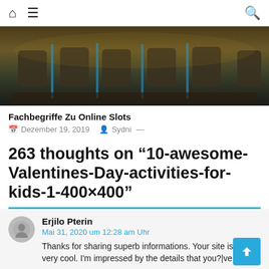Home | Menu | Search
[Figure (photo): Dark interior photo showing restaurant or venue seating with chairs and blue accent lighting]
Fachbegriffe Zu Online Slots
Dezember 19, 2019   Sydni —
263 thoughts on “10-awesome-Valentines-Day-activities-for-kids-1-400×400”
Erjilo Pterin
Mai 31, 2020 um 12:28 am Uhr
Thanks for sharing superb informations. Your site is very cool. I'm impressed by the details that you?¾ve on